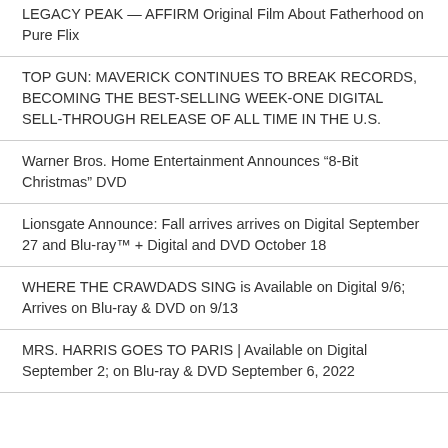LEGACY PEAK — AFFIRM Original Film About Fatherhood on Pure Flix
TOP GUN: MAVERICK CONTINUES TO BREAK RECORDS, BECOMING THE BEST-SELLING WEEK-ONE DIGITAL SELL-THROUGH RELEASE OF ALL TIME IN THE U.S.
Warner Bros. Home Entertainment Announces “8-Bit Christmas” DVD
Lionsgate Announce: Fall arrives arrives on Digital September 27 and Blu-ray™ + Digital and DVD October 18
WHERE THE CRAWDADS SING is Available on Digital 9/6; Arrives on Blu-ray & DVD on 9/13
MRS. HARRIS GOES TO PARIS | Available on Digital September 2; on Blu-ray & DVD September 6, 2022